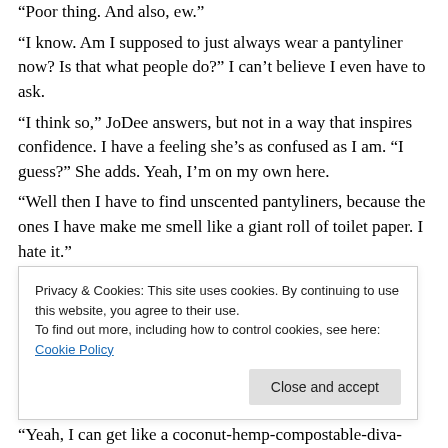“Poor thing. And also, ew.”
“I know. Am I supposed to just always wear a pantyliner now? Is that what people do?” I can’t believe I even have to ask.
“I think so,” JoDee answers, but not in a way that inspires confidence. I have a feeling she’s as confused as I am. “I guess?” She adds. Yeah, I’m on my own here.
“Well then I have to find unscented pantyliners, because the ones I have make me smell like a giant roll of toilet paper. I hate it.”
Privacy & Cookies: This site uses cookies. By continuing to use this website, you agree to their use.
To find out more, including how to control cookies, see here: Cookie Policy
“Yeah, I can get like a coconut-hemp-compostable-diva-